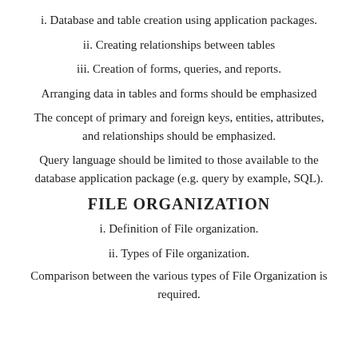i. Database and table creation using application packages.
ii. Creating relationships between tables
iii. Creation of forms, queries, and reports.
Arranging data in tables and forms should be emphasized
The concept of primary and foreign keys, entities, attributes, and relationships should be emphasized.
Query language should be limited to those available to the database application package (e.g. query by example, SQL).
FILE ORGANIZATION
i. Definition of File organization.
ii. Types of File organization.
Comparison between the various types of File Organization is required.